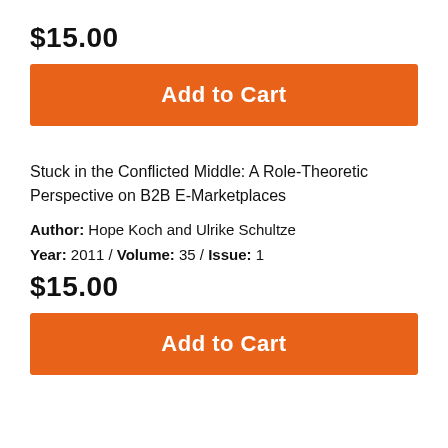$15.00
Add to Cart
Stuck in the Conflicted Middle: A Role-Theoretic Perspective on B2B E-Marketplaces
Author: Hope Koch and Ulrike Schultze
Year: 2011 / Volume: 35 / Issue: 1
$15.00
Add to Cart